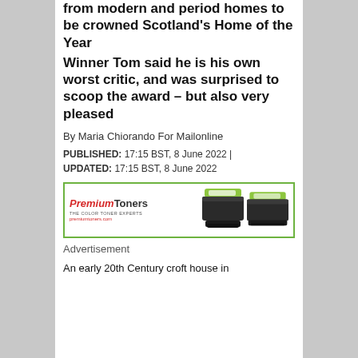from modern and period homes to be crowned Scotland's Home of the Year
Winner Tom said he is his own worst critic, and was surprised to scoop the award – but also very pleased
By Maria Chiorando For Mailonline
PUBLISHED: 17:15 BST, 8 June 2022 | UPDATED: 17:15 BST, 8 June 2022
[Figure (illustration): PremiumToners advertisement banner showing logo with toner cartridge products]
Advertisement
An early 20th Century croft house in